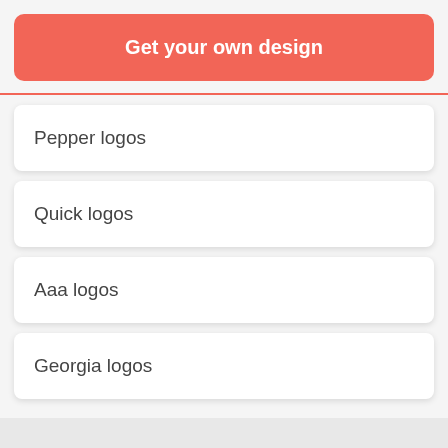Get your own design
Pepper logos
Quick logos
Aaa logos
Georgia logos